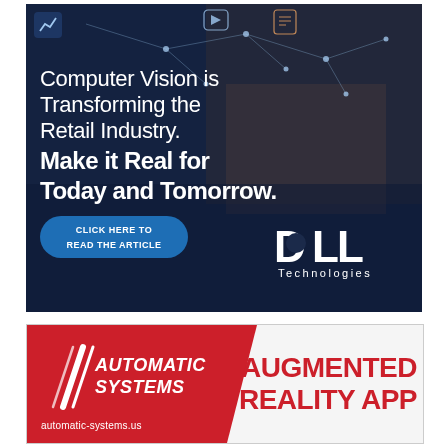[Figure (infographic): Dell Technologies advertisement. Dark blue background with retail store scene and network connectivity nodes overlay. Text reads: 'Computer Vision is Transforming the Retail Industry. Make it Real for Today and Tomorrow.' Blue button: 'CLICK HERE TO READ THE ARTICLE'. Dell Technologies logo bottom right.]
[Figure (infographic): Automatic Systems advertisement with red background and diagonal white slash. Logo: AS Automatic Systems. Text: 'AUGMENTED REALITY APP'. URL: automatic-systems.us]